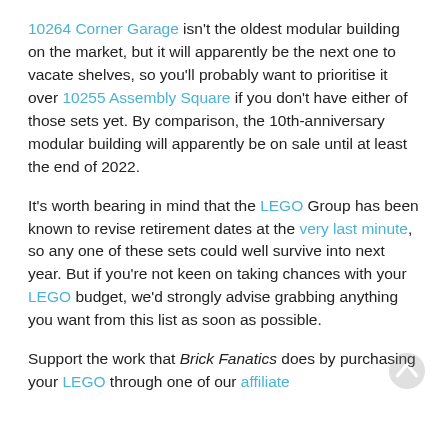10264 Corner Garage isn't the oldest modular building on the market, but it will apparently be the next one to vacate shelves, so you'll probably want to prioritise it over 10255 Assembly Square if you don't have either of those sets yet. By comparison, the 10th-anniversary modular building will apparently be on sale until at least the end of 2022.
It's worth bearing in mind that the LEGO Group has been known to revise retirement dates at the very last minute, so any one of these sets could well survive into next year. But if you're not keen on taking chances with your LEGO budget, we'd strongly advise grabbing anything you want from this list as soon as possible.
Support the work that Brick Fanatics does by purchasing your LEGO through one of our affiliate